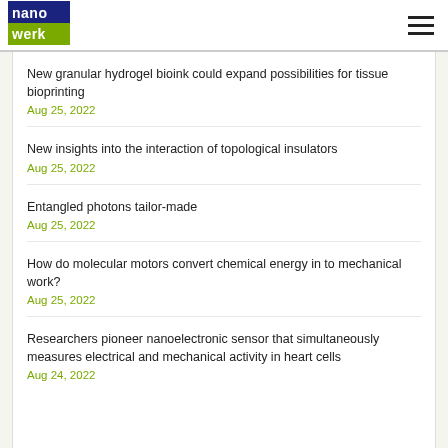nanowerk
New granular hydrogel bioink could expand possibilities for tissue bioprinting
Aug 25, 2022
New insights into the interaction of topological insulators
Aug 25, 2022
Entangled photons tailor-made
Aug 25, 2022
How do molecular motors convert chemical energy in to mechanical work?
Aug 25, 2022
Researchers pioneer nanoelectronic sensor that simultaneously measures electrical and mechanical activity in heart cells
Aug 24, 2022